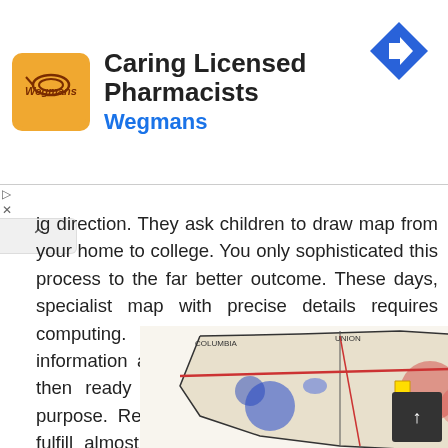[Figure (advertisement): Wegmans pharmacy advertisement banner with logo, text 'Caring Licensed Pharmacists', 'Wegmans', and a blue navigation arrow icon]
ig direction. They ask children to draw map from your home to college. You only sophisticated this process to the far better outcome. These days, specialist map with precise details requires computing. Computer software utilizes information and facts to organize each portion then ready to give you the map at distinct purpose. Remember one map are not able to fulfill almost everything. As a result, only the most important elements will be in that map which includes Flood Maps Gainesville Florida.
[Figure (map): Flood map of Gainesville Florida area showing counties including Columbia, Union, Bradford, Clay with colored flood zones (blue, red, pink areas) and road networks]